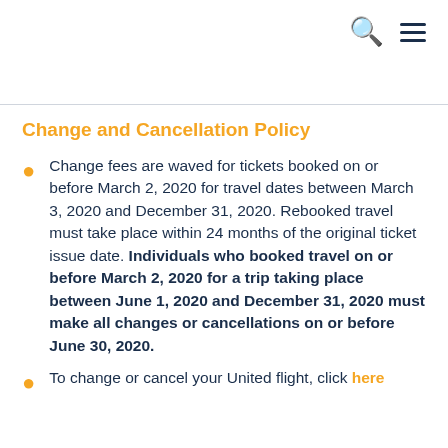[search icon] [menu icon]
Change and Cancellation Policy
Change fees are waved for tickets booked on or before March 2, 2020 for travel dates between March 3, 2020 and December 31, 2020. Rebooked travel must take place within 24 months of the original ticket issue date. Individuals who booked travel on or before March 2, 2020 for a trip taking place between June 1, 2020 and December 31, 2020 must make all changes or cancellations on or before June 30, 2020.
To change or cancel your United flight, click here